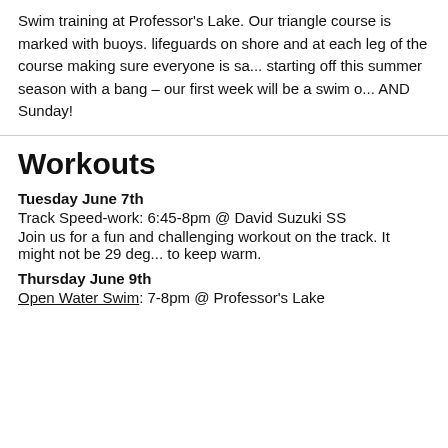Swim training at Professor's Lake. Our triangle course is marked with buoys. lifeguards on shore and at each leg of the course making sure everyone is sa... starting off this summer season with a bang – our first week will be a swim o... AND Sunday!
Workouts
Tuesday June 7th
Track Speed-work: 6:45-8pm @ David Suzuki SS
Join us for a fun and challenging workout on the track. It might not be 29 deg... to keep warm.
Thursday June 9th
Open Water Swim: 7-8pm @ Professor's Lake